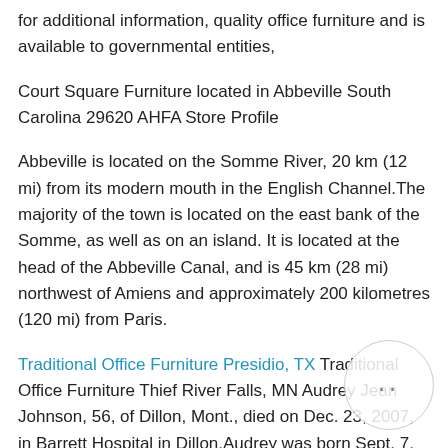for additional information, quality office furniture and is available to governmental entities,
Court Square Furniture located in Abbeville South Carolina 29620 AHFA Store Profile
Abbeville is located on the Somme River, 20 km (12 mi) from its modern mouth in the English Channel.The majority of the town is located on the east bank of the Somme, as well as on an island. It is located at the head of the Abbeville Canal, and is 45 km (28 mi) northwest of Amiens and approximately 200 kilometres (120 mi) from Paris.
Traditional Office Furniture Presidio, TX Traditional Office Furniture Thief River Falls, MN Audrey Jean Johnson, 56, of Dillon, Mont., died on Dec. 23, 2007, in Barrett Hospital in Dillon.Audrey was born Sept. 7, 1951, to Caroline (Nelson) Johnson and William Johnson in Minneapolis. She was a graduate of Osseo High School. She was also a member of